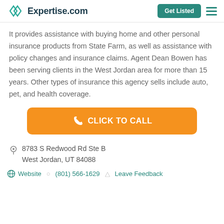Expertise.com | Get Listed
It provides assistance with buying home and other personal insurance products from State Farm, as well as assistance with policy changes and insurance claims. Agent Dean Bowen has been serving clients in the West Jordan area for more than 15 years. Other types of insurance this agency sells include auto, pet, and health coverage.
[Figure (other): Orange CLICK TO CALL button with phone icon]
8783 S Redwood Rd Ste B
West Jordan, UT 84088
Website  (801) 566-1629  Leave Feedback